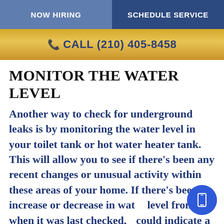NOW HIRING | SCHEDULE SERVICE
📞 CALL (210) 405-8458
MONITOR THE WATER LEVEL
Another way to check for underground leaks is by monitoring the water level in your toilet tank or hot water heater tank. This will allow you to see if there's been any recent changes or unusual activity within these areas of your home. If there's been an increase or decrease in water level from when it was last checked, it could indicate a leak somewhere within